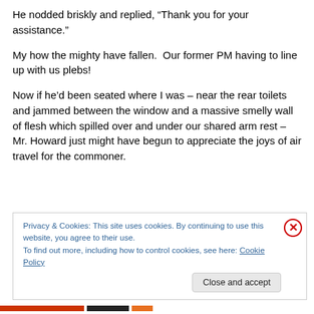He nodded briskly and replied, “Thank you for your assistance.”
My how the mighty have fallen.  Our former PM having to line up with us plebs!
Now if he’d been seated where I was – near the rear toilets and jammed between the window and a massive smelly wall of flesh which spilled over and under our shared arm rest – Mr. Howard just might have begun to appreciate the joys of air travel for the commoner.
Privacy & Cookies: This site uses cookies. By continuing to use this website, you agree to their use.
To find out more, including how to control cookies, see here: Cookie Policy
Close and accept